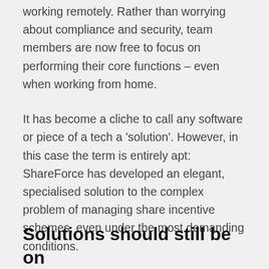working remotely. Rather than worrying about compliance and security, team members are now free to focus on performing their core functions – even when working from home.
It has become a cliche to call any software or piece of a tech a 'solution'. However, in this case the term is entirely apt: ShareForce has developed an elegant, specialised solution to the complex problem of managing share incentive schemes, even under the most demanding conditions.
Solutions should still be on